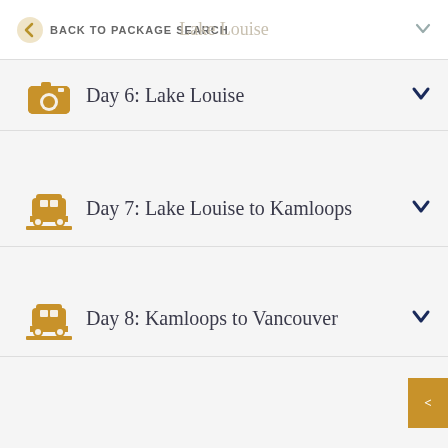BACK TO PACKAGE SEARCH   Lake Louise
Day 6: Lake Louise
Day 7: Lake Louise to Kamloops
Day 8: Kamloops to Vancouver
This website uses cookies to provide you with a great user experience. By using Rocky Mountaineer, you accept our privacy policy.
OKAY